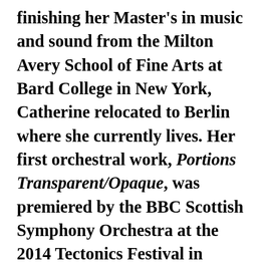finishing her Master's in music and sound from the Milton Avery School of Fine Arts at Bard College in New York, Catherine relocated to Berlin where she currently lives. Her first orchestral work, Portions Transparent/Opaque, was premiered by the BBC Scottish Symphony Orchestra at the 2014 Tectonics Festival in Glasgow. She has won a series of awards, including the Ernst von Siemens Composer's prize in 2020, and the Grants to Artists award from the Foundation for Contemporary Arts in 2018. She has also co-founded the collectively oriented Harmonic Space Orchestra in